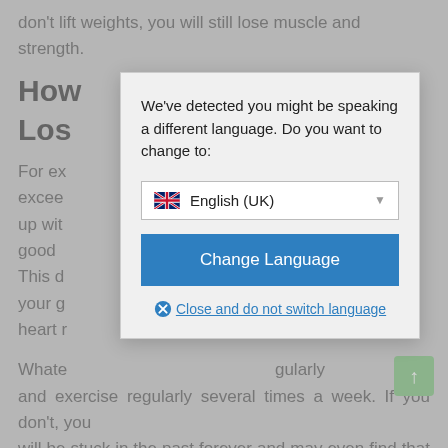don't lift weights, you will still lose muscle and strength.
How To Successfully Lose Weight?
For ex... always exceed... to keep up with... maintain a good... every day. This d... me in your g... et your heart r...
Whate... regularly and exercise regularly several times a week. If you don't, you will be stuck in the past forever and may even find that you gain more weight than what you started with.
How To Successfully Lose Weight?
[Figure (screenshot): Language selection modal dialog over a webpage background. The modal contains the message 'We've detected you might be speaking a different language. Do you want to change to:' with a dropdown showing 'English (UK)' with a UK flag, a blue 'Change Language' button, and a 'Close and do not switch language' link with an X icon.]